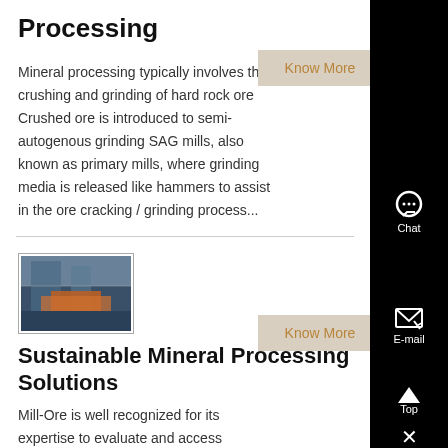Processing
Mineral processing typically involves the crushing and grinding of hard rock ore Crushed ore is introduced to semi-autogenous grinding SAG mills, also known as primary mills, where grinding media is released like hammers to assist in the ore cracking / grinding process...
[Figure (other): Know More button - tan/beige background with orange text]
Sustainable Mineral Processing Solutions
[Figure (photo): Industrial mineral processing facility interior with machinery and orange equipment]
Mill-Ore is well recognized for its expertise to evaluate and access
[Figure (other): Know More button - tan/beige background with orange text]